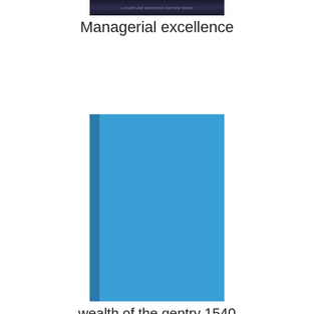[Figure (photo): Top portion of a dark-colored book cover with text 'A Harvard Business Review Book']
Managerial excellence
[Figure (photo): Blue book cover with darker blue spine on the left side]
wealth of the gentry 1540